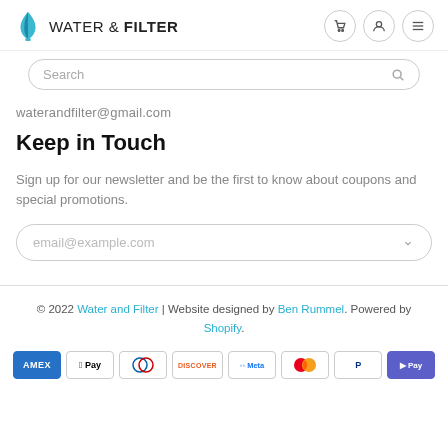WATER & FILTER
waterandfilter@gmail.com
Keep in Touch
Sign up for our newsletter and be the first to know about coupons and special promotions.
email@example.com
© 2022 Water and Filter | Website designed by Ben Rummel. Powered by Shopify.